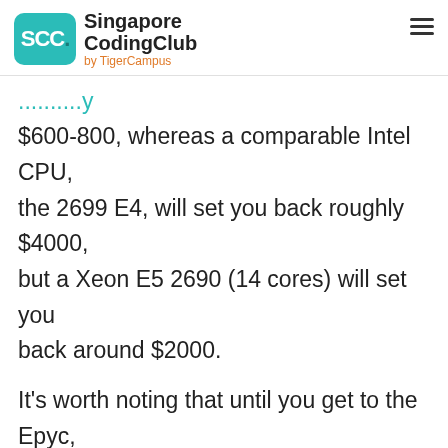Singapore CodingClub by TigerCampus
$600-800, whereas a comparable Intel CPU, the 2699 E4, will set you back roughly $4000, but a Xeon E5 2690 (14 cores) will set you back around $2000.
It's worth noting that until you get to the Epyc, which costs roughly $4000-5000 per chip, the Ryzen range doesn't provide dual CPU layouts. If you decide to go with AMD, you'll